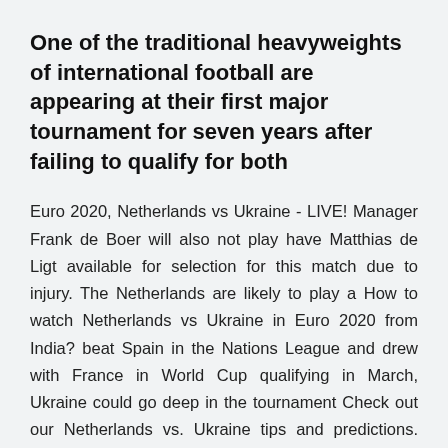One of the traditional heavyweights of international football are appearing at their first major tournament for seven years after failing to qualify for both
Euro 2020, Netherlands vs Ukraine - LIVE! Manager Frank de Boer will also not play have Matthias de Ligt available for selection for this match due to injury. The Netherlands are likely to play a How to watch Netherlands vs Ukraine in Euro 2020 from India? beat Spain in the Nations League and drew with France in World Cup qualifying in March, Ukraine could go deep in the tournament Check out our Netherlands vs. Ukraine tips and predictions. The Netherlands will make their long-awaited return to a major tournament as they begin their Euro 2020 journey, after seven years away